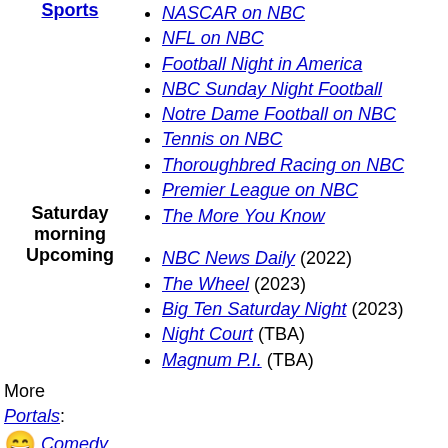| Category | Items |
| --- | --- |
| Sports | NASCAR on NBC, NFL on NBC, Football Night in America, NBC Sunday Night Football, Notre Dame Football on NBC, Tennis on NBC, Thoroughbred Racing on NBC, Premier League on NBC |
| Saturday morning | The More You Know |
| Upcoming | NBC News Daily (2022), The Wheel (2023), Big Ten Saturday Night (2023), Night Court (TBA), Magnum P.I. (TBA) |
More Portals:
Comedy
Television United States
Categories
Categories: